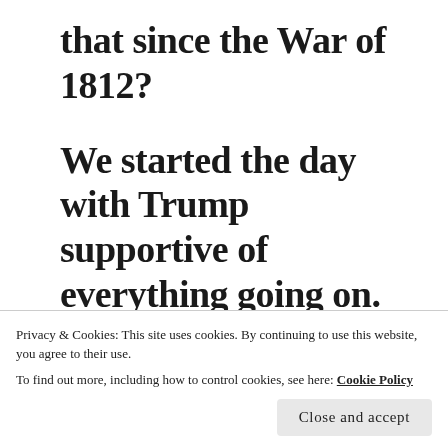that since the War of 1812?
We started the day with Trump supportive of everything going on. Then, he gave a questionable speech
Privacy & Cookies: This site uses cookies. By continuing to use this website, you agree to their use.
To find out more, including how to control cookies, see here: Cookie Policy
Close and accept